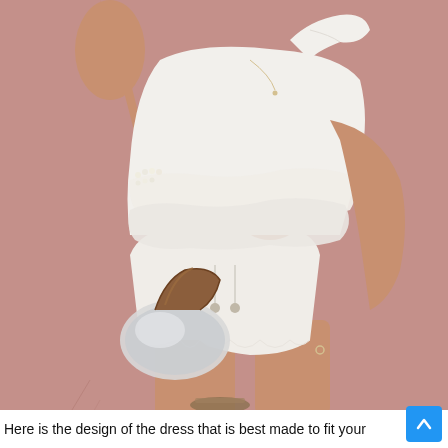[Figure (photo): A woman wearing a white one-shoulder ruffled linen top and matching white linen shorts with drawstring waist, holding a silver metallic bag with tortoiseshell handle, standing against a pink wall. She has short blonde hair and wears pearl bracelets.]
Here is the design of the dress that is best made to fit your